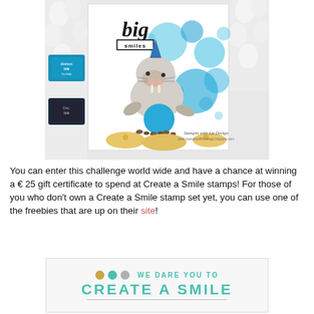[Figure (photo): A handmade greeting card featuring a walrus wearing a party hat, balancing on a blue ball, with blue bubble circles in the background, surrounded by white flowers, ink pads, and the watermark 'Stampin with Liz Design'.]
You can enter this challenge world wide and have a chance at winning a € 25 gift certificate to spend at Create a Smile stamps! For those of you who don't own a Create a Smile stamp set yet, you can use one of the freebies that are up on their site!
[Figure (logo): Create a Smile stamp challenge banner: three colored dots (gold, teal, gray), text 'WE DARE YOU TO' and large 'CREATE A SMILE' in teal lettering with a horizontal rule below.]